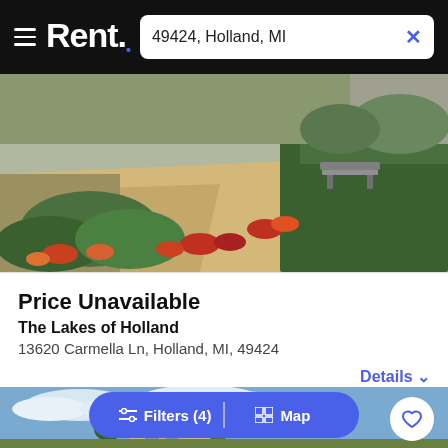Rent. — 49424, Holland, MI
[Figure (photo): Outdoor landscaping photo showing a paved pathway with orange and red flowering plants, green hedges and shrubs, and a bench in the background.]
Price Unavailable
The Lakes of Holland
13620 Carmella Ln, Holland, MI, 49424
Details ∨
[Figure (photo): Exterior photo of a residential apartment building with a light blue sky and clouds in the background.]